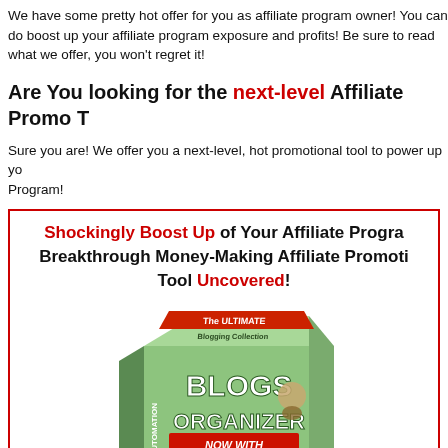We have some pretty hot offer for you as affiliate program owner! You can do boost up your affiliate program exposure and profits! Be sure to read what we offer, you won't regret it!
Are You looking for the next-level Affiliate Promo T...
Sure you are! We offer you a next-level, hot promotional tool to power up your Program!
Shockingly Boost Up of Your Affiliate Program Breakthrough Money-Making Affiliate Promotional Tool Uncovered!
[Figure (illustration): Product box image showing 'Blogs Organizer' software with text: THE ULTIMATE Blogging Collection, BLOGS ORGANIZER, NOW WITH AFFILIATE MODULE!, PRODUCING SPONSOR HOSTED BLOGS, 100% AUTOMATION]